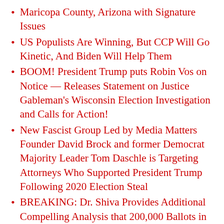Maricopa County, Arizona with Signature Issues
US Populists Are Winning, But CCP Will Go Kinetic, And Biden Will Help Them
BOOM! President Trump puts Robin Vos on Notice — Releases Statement on Justice Gableman's Wisconsin Election Investigation and Calls for Action!
New Fascist Group Led by Media Matters Founder David Brock and former Democrat Majority Leader Tom Daschle is Targeting Attorneys Who Supported President Trump Following 2020 Election Steal
BREAKING: Dr. Shiva Provides Additional Compelling Analysis that 200,000 Ballots in 2020 Election in Maricopa Needed Signatures to be "Cured" But They Were Ignored
Dominion Received At Least 2,000 Large Packages From China During 2020 Election